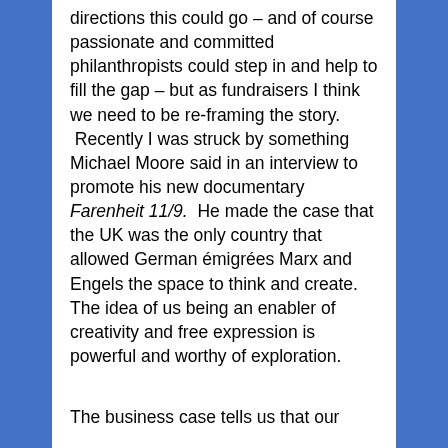directions this could go – and of course passionate and committed philanthropists could step in and help to fill the gap – but as fundraisers I think we need to be re-framing the story.  Recently I was struck by something Michael Moore said in an interview to promote his new documentary Farenheit 11/9.  He made the case that the UK was the only country that allowed German émigrées Marx and Engels the space to think and create.  The idea of us being an enabler of creativity and free expression is powerful and worthy of exploration.

The business case tells us that our